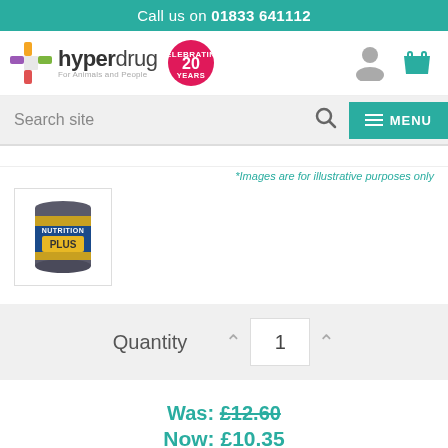Call us on 01833 641112
[Figure (logo): Hyperdrug logo with colorful cross icon, brand name 'hyperdrug', tagline 'For Animals and People', and a circular '20 YEARS' anniversary badge. Header also shows user account and shopping basket icons.]
Search site
*Images are for illustrative purposes only
[Figure (photo): Thumbnail product image showing a dark canister/tin with blue and yellow label reading 'NUTRITION PLUS']
Quantity 1
Was: £12.60
Now: £10.35